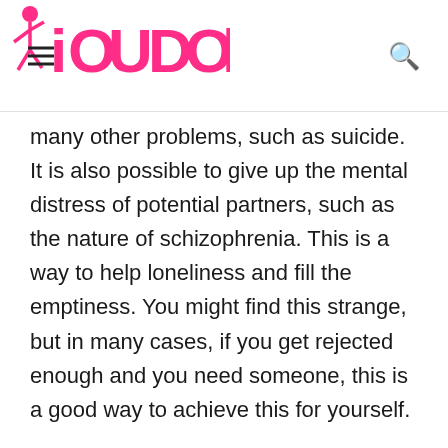iOUDOII (logo)
many other problems, such as suicide. It is also possible to give up the mental distress of potential partners, such as the nature of schizophrenia. This is a way to help loneliness and fill the emptiness. You might find this strange, but in many cases, if you get rejected enough and you need someone, this is a good way to achieve this for yourself.